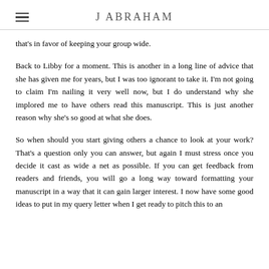J ABRAHAM
that's in favor of keeping your group wide.
Back to Libby for a moment. This is another in a long line of advice that she has given me for years, but I was too ignorant to take it. I'm not going to claim I'm nailing it very well now, but I do understand why she implored me to have others read this manuscript. This is just another reason why she's so good at what she does.
So when should you start giving others a chance to look at your work? That's a question only you can answer, but again I must stress once you decide it cast as wide a net as possible. If you can get feedback from readers and friends, you will go a long way toward formatting your manuscript in a way that it can gain larger interest. I now have some good ideas to put in my query letter when I get ready to pitch this to an